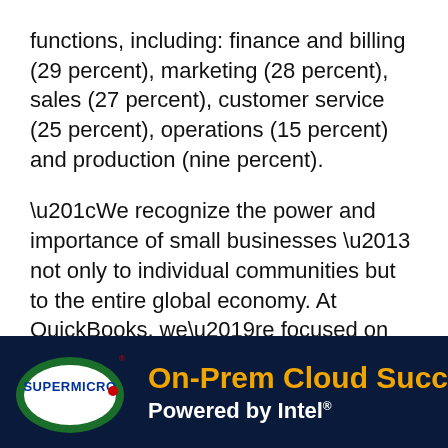functions, including: finance and billing (29 percent), marketing (28 percent), sales (27 percent), customer service (25 percent), operations (15 percent) and production (nine percent).
“We recognize the power and importance of small businesses – not only to individual communities but to the entire global economy. At QuickBooks, we’re focused on harnessing the power of innovative technology to improve the lives of our small business customers – giving them more time, money, connections and insights to run their businesses effectively and efficiently, because we understand that when they succeed,
[Figure (other): Supermicro advertisement banner: On-Prem Cloud Success Powered by Intel. Dark blue background with Supermicro logo (green oval with white inner oval and blue text) on the left, and orange bold text 'On-Prem Cloud Succes' and white bold text 'Powered by Intel' with registered trademark on the right.]